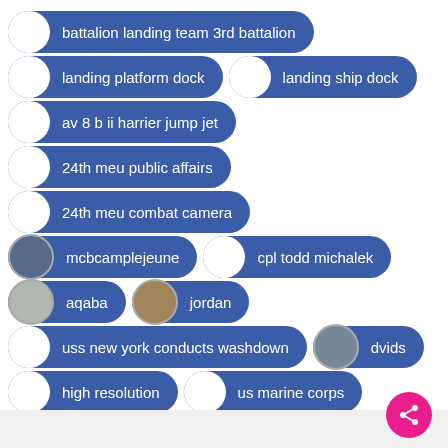battalion landing team 3rd battalion
landing platform dock
landing ship dock
av 8 b ii harrier jump jet
24th meu public affairs
24th meu combat camera
mcbcamplejeune
cpl todd michalek
aqaba
jordan
uss new york conducts washdown
dvids
high resolution
us marine corps
battalion landing team
us navy ships